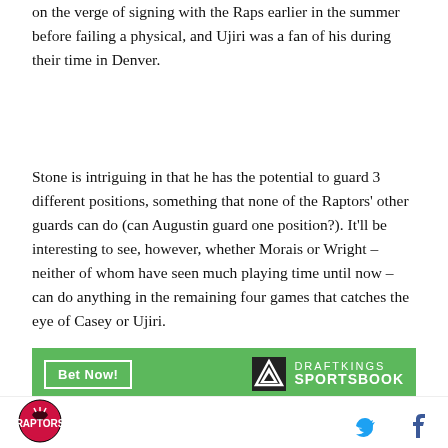on the verge of signing with the Raps earlier in the summer before failing a physical, and Ujiri was a fan of his during their time in Denver.
Stone is intriguing in that he has the potential to guard 3 different positions, something that none of the Raptors' other guards can do (can Augustin guard one position?). It'll be interesting to see, however, whether Morais or Wright – neither of whom have seen much playing time until now – can do anything in the remaining four games that catches the eye of Casey or Ujiri.
[Figure (other): DraftKings Sportsbook advertisement banner with green background, 'Bet Now!' button, and DraftKings Sportsbook logo]
Pascal Siakam
[Figure (logo): Toronto Raptors logo — circular red logo with raptors claw]
[Figure (other): Twitter bird icon (blue) and Facebook 'f' icon (dark blue) social sharing buttons]